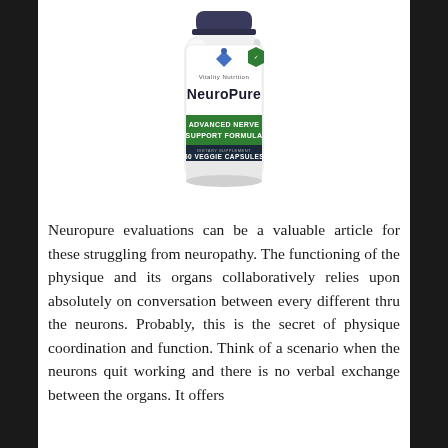[Figure (photo): NeuroPure supplement bottle — white bottle with dark cap, Vitality Nutrition brand, 'NeuroPure' in bold text, green banner reading 'ADVANCED NERVE SUPPORT FORMULA', '60 VEGGIE CAPSULES' label, dietary supplement.]
Neuropure evaluations can be a valuable article for these struggling from neuropathy. The functioning of the physique and its organs collaboratively relies upon absolutely on conversation between every different thru the neurons. Probably, this is the secret of physique coordination and function. Think of a scenario when the neurons quit working and there is no verbal exchange between the organs. It offers